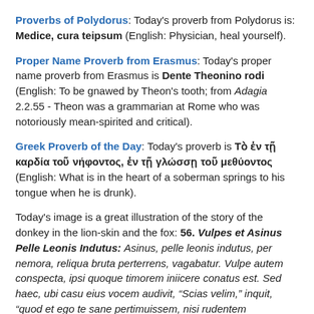Proverbs of Polydorus: Today's proverb from Polydorus is: Medice, cura teipsum (English: Physician, heal yourself).
Proper Name Proverb from Erasmus: Today's proper name proverb from Erasmus is Dente Theonino rodi (English: To be gnawed by Theon's tooth; from Adagia 2.2.55 - Theon was a grammarian at Rome who was notoriously mean-spirited and critical).
Greek Proverb of the Day: Today's proverb is Τὸ ἐν τῇ καρδία τοῦ νήφοντος, ἐν τῇ γλώσσῃ τοῦ μεθύοντος (English: What is in the heart of a soberman springs to his tongue when he is drunk).
Today's image is a great illustration of the story of the donkey in the lion-skin and the fox: 56. Vulpes et Asinus Pelle Leonis Indutus: Asinus, pelle leonis indutus, per nemora, reliqua bruta perterrens, vagabatur. Vulpe autem conspecta, ipsi quoque timorem iniicere conatus est. Sed haec, ubi casu eius vocem audivit, "Scias velim," inquit, "quod et ego te sane pertimuissem, nisi rudentem